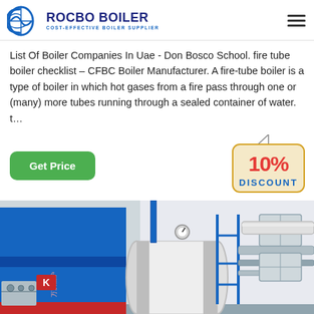ROCBO BOILER — COST-EFFECTIVE BOILER SUPPLIER
List Of Boiler Companies In Uae - Don Bosco School. fire tube boiler checklist – CFBC Boiler Manufacturer. A fire-tube boiler is a type of boiler in which hot gases from a fire pass through one or (many) more tubes running through a sealed container of water. t…
[Figure (illustration): Green 'Get Price' button and a '10% DISCOUNT' badge hanging sign]
[Figure (photo): Industrial boiler equipment in a factory — large blue cylindrical boiler unit with piping, gauges, and scaffolding in a white industrial building]